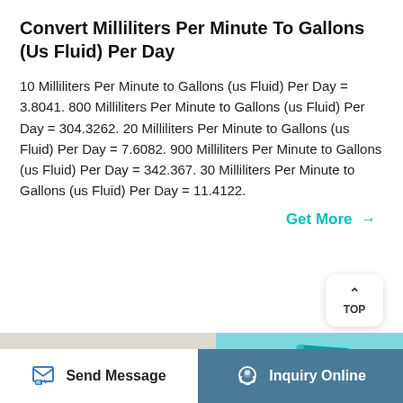Convert Milliliters Per Minute To Gallons (Us Fluid) Per Day
10 Milliliters Per Minute to Gallons (us Fluid) Per Day = 3.8041. 800 Milliliters Per Minute to Gallons (us Fluid) Per Day = 304.3262. 20 Milliliters Per Minute to Gallons (us Fluid) Per Day = 7.6082. 900 Milliliters Per Minute to Gallons (us Fluid) Per Day = 342.367. 30 Milliliters Per Minute to Gallons (us Fluid) Per Day = 11.4122.
Get More →
[Figure (photo): Thermostat device showing 24.6 and 24.0 temperature readings on a dark LCD screen, mounted on a beige wall]
[Figure (photo): Teal/cyan colored geometric shapes (book-like objects) against a light blue background]
Send Message    Inquiry Online